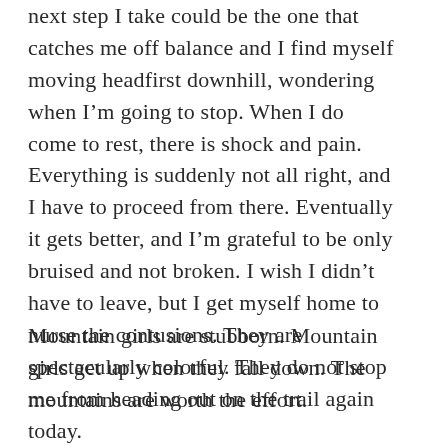next step I take could be the one that catches me off balance and I find myself moving headfirst downhill, wondering when I'm going to stop. When I do come to rest, there is shock and pain. Everything is suddenly not all right, and I have to proceed from there. Eventually it gets better, and I'm grateful to be only bruised and not broken. I wish I didn't have to leave, but I get myself home to nurse the contusions. They are spectacularly colorful. They do not stop me from heading out on the trail again today.
Mountain girls are stubborn. Mountain girls get up when they fall down. The mountains are worth the effort.